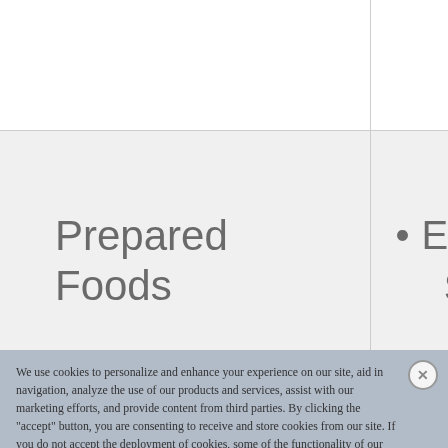|  |  |
| Prepared Foods | • Extruded Onion Ring Snacks |
We use cookies to personalize and enhance your experience on our site, aid in navigation, analyze the use of our products and services, assist with our marketing efforts, and provide content from third parties. By clicking the "accept" button, you are consenting to receive and store cookies from our site. If you do not accept the deployment of cookies, some of the functionality of our website will be lost. Once accepted, you can delete the cookies at any time from your browser. To request any information collected via cookies to be deleted, follow the instructions in our use of cookies, on our Privacy Policy.